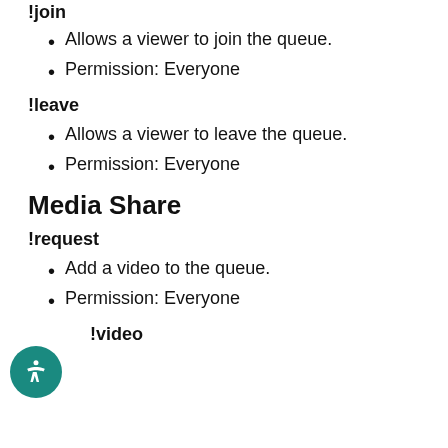!join
Allows a viewer to join the queue.
Permission: Everyone
!leave
Allows a viewer to leave the queue.
Permission: Everyone
Media Share
!request
Add a video to the queue.
Permission: Everyone
!video